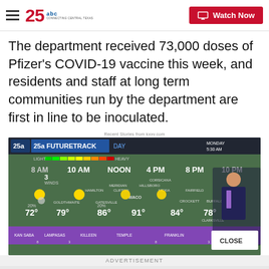25 ABC — CONNECTING CENTRAL TEXAS | Watch Now
The department received 73,000 doses of Pfizer's COVID-19 vaccine this week, and residents and staff at long term communities run by the department are first in line to be inoculated.
Recent Stories from kxxv.com
[Figure (screenshot): Weather forecast screenshot showing 25ABC FutureTrack DAY for Monday 5:30 AM. Map of Central Texas with time slots 8 AM, 10 AM, NOON, 4 PM, 8 PM, 10 PM. Cities shown: Goldthwaite (72°, 20%), Hamilton (79°), Gatesville (86°, 20%), Waco (91°), Meridian, Clifton, Hillsboro, Corsicana, Mexia, Fairfield, Buffalo (78°), Crockett (84°). Sun and cloud icons. Light to Heavy rain scale shown. A male meteorologist stands to the right.]
ADVERTISEMENT
25 Weather